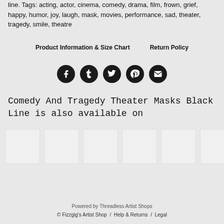line. Tags: acting, actor, cinema, comedy, drama, film, frown, grief, happy, humor, joy, laugh, mask, movies, performance, sad, theater, tragedy, smile, theatre
Product Information & Size Chart
Return Policy
[Figure (infographic): Five circular social media share icons: Facebook, Tumblr, Twitter, Pinterest, Email — dark circles with white icons]
Comedy And Tragedy Theater Masks Black Line is also available on
[Figure (other): Six product thumbnail placeholder boxes in a row]
Powered by Threadless Artist Shops
© Fizzgig's Artist Shop / Help & Returns / Legal